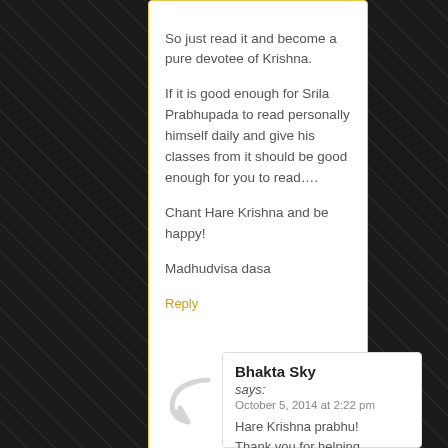So just read it and become a pure devotee of Krishna.
If it is good enough for Srila Prabhupada to read personally himself daily and give his classes from it should be good enough for you to read….
Chant Hare Krishna and be happy!
Madhudvisa dasa
Reply
Bhakta Sky says: October 5, 2014 at 2:22 pm Hare Krishna prabhu! Thank you for helping